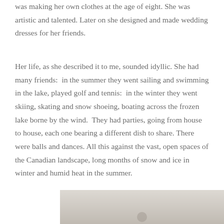was making her own clothes at the age of eight. She was artistic and talented. Later on she designed and made wedding dresses for her friends.
Her life, as she described it to me, sounded idyllic. She had many friends:  in the summer they went sailing and swimming in the lake, played golf and tennis:  in the winter they went skiing, skating and snow shoeing, boating across the frozen lake borne by the wind.  They had parties, going from house to house, each one bearing a different dish to share. There were balls and dances. All this against the vast, open spaces of the Canadian landscape, long months of snow and ice in winter and humid heat in the summer.
[Figure (photo): Partial view of a photograph at the bottom of the page, showing what appears to be an outdoor scene.]